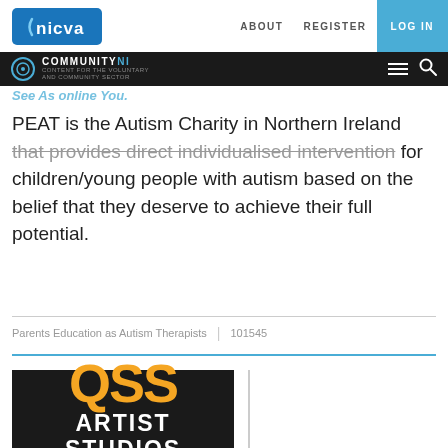nicva | ABOUT  REGISTER  LOG IN
COMMUNITY NI
See As online You.
PEAT is the Autism Charity in Northern Ireland that provides direct individualised intervention for children/young people with autism based on the belief that they deserve to achieve their full potential.
Parents Education as Autism Therapists  |  101545
[Figure (logo): QSS Artist Studios logo — black background with 'QSS' in large yellow/gold text and 'ARTIST STUDIOS' in white bold text below]